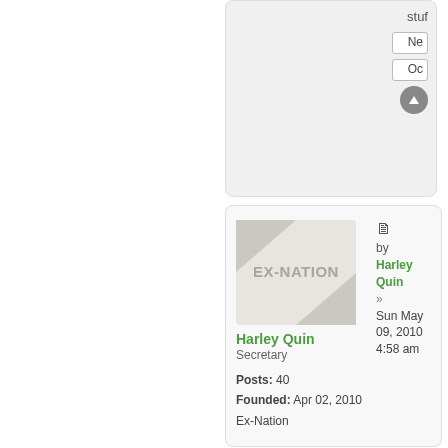[Figure (screenshot): Partial forum post card with navigation buttons (Ne, Oc) and arrow icon at top right]
[Figure (screenshot): Forum post card showing EX-NATION avatar, user Harley Quin (Secretary), Posts: 40, Founded: Apr 02, 2010, Ex-Nation, with post timestamp Sun May 09, 2010 4:58 am]
Harley Quin
Secretary
Posts: 40
Founded: Apr 02, 2010
Ex-Nation
by Harley Quin » Sun May 09, 2010 4:58 am